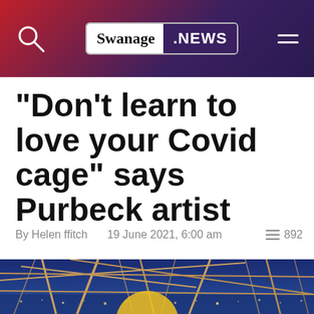Swanage .NEWS
“Don’t learn to love your Covid cage” says Purbeck artist
By Helen ffitch   19 June 2021, 6:00 am   ≡ 892
[Figure (photo): Photograph of a cage-like scaffold/net structure with bamboo or wooden poles against a blue evening sky with city lights visible in the background, with a yellow circular object partially visible at the bottom.]